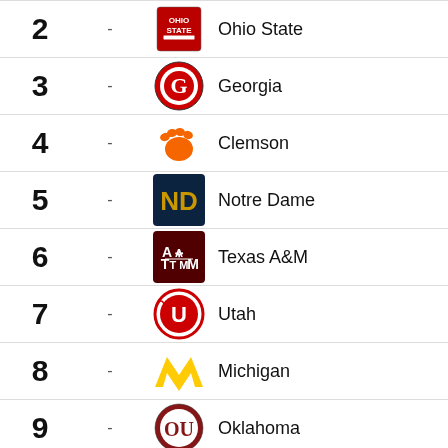| Rank | Change | Logo | Team |
| --- | --- | --- | --- |
| 2 | - |  | Ohio State |
| 3 | - |  | Georgia |
| 4 | - |  | Clemson |
| 5 | - |  | Notre Dame |
| 6 | - |  | Texas A&M |
| 7 | - |  | Utah |
| 8 | - |  | Michigan |
| 9 | - |  | Oklahoma |